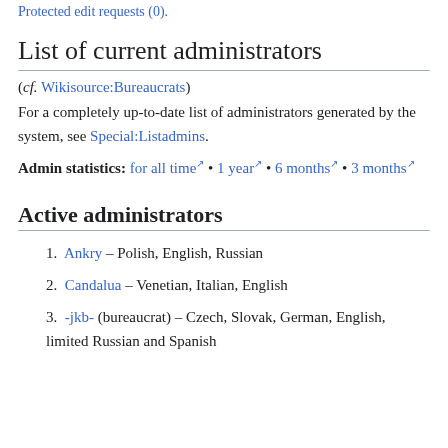Protected edit requests (0).
List of current administrators
(cf. Wikisource:Bureaucrats)
For a completely up-to-date list of administrators generated by the system, see Special:Listadmins.
Admin statistics: for all time • 1 year • 6 months • 3 months
Active administrators
1. Ankry – Polish, English, Russian
2. Candalua – Venetian, Italian, English
3. -jkb- (bureaucrat) – Czech, Slovak, German, English, limited Russian and Spanish